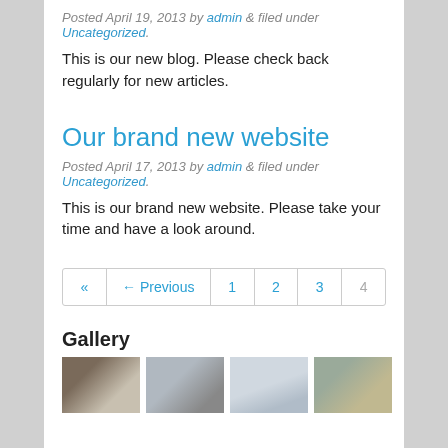Posted April 19, 2013 by admin & filed under Uncategorized.
This is our new blog. Please check back regularly for new articles.
Our brand new website
Posted April 17, 2013 by admin & filed under Uncategorized.
This is our brand new website. Please take your time and have a look around.
« ← Previous 1 2 3 4
Gallery
[Figure (photo): Four thumbnail photos in a gallery row showing vehicles and interior scenes]